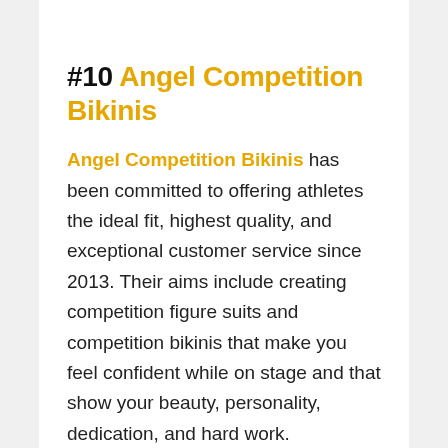#10 Angel Competition Bikinis
Angel Competition Bikinis has been committed to offering athletes the ideal fit, highest quality, and exceptional customer service since 2013. Their aims include creating competition figure suits and competition bikinis that make you feel confident while on stage and that show your beauty, personality, dedication, and hard work.
Purchasing a suit from ACBikinis is intended to be different than purchasing from any other